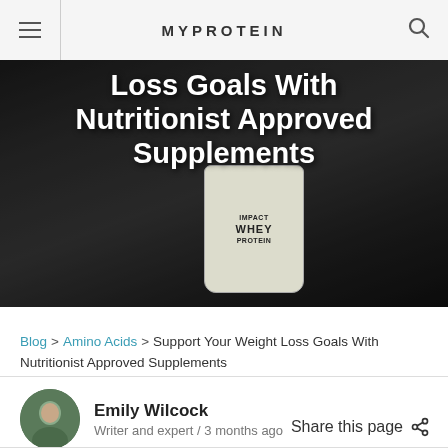MYPROTEIN
[Figure (photo): Hero image showing gym equipment and an Impact Whey Protein bag on a dark background, with overlaid article title text: 'Loss Goals With Nutritionist Approved Supplements']
Loss Goals With Nutritionist Approved Supplements
Blog > Amino Acids > Support Your Weight Loss Goals With Nutritionist Approved Supplements
Emily Wilcock
Writer and expert / 3 months ago
Share this page